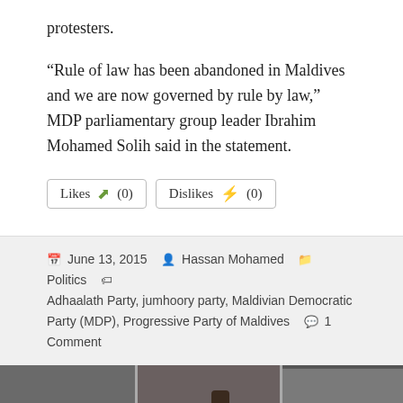protesters.
“Rule of law has been abandoned in Maldives and we are now governed by rule by law,” MDP parliamentary group leader Ibrahim Mohamed Solih said in the statement.
Likes (0)  Dislikes (0)
June 13, 2015   Hassan Mohamed   Politics   Adhaalath Party, jumhoory party, Maldivian Democratic Party (MDP), Progressive Party of Maldives   1 Comment
[Figure (photo): Three-panel photo collage showing protesters being arrested or detained, with police officers present.]